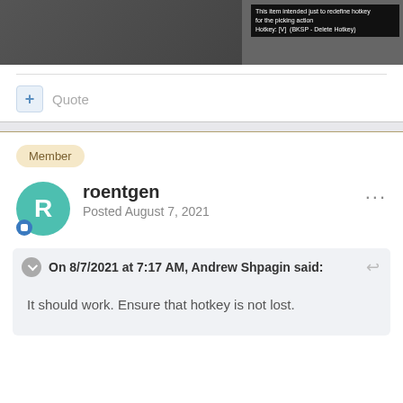[Figure (screenshot): Screenshot of a software interface showing hotkey settings. Text overlay reads: 'This item intended just to redefine hotkey for the picking action. Hotkey: [V] (BKSP - Delete Hotkey)']
Quote
Member
roentgen
Posted August 7, 2021
On 8/7/2021 at 7:17 AM, Andrew Shpagin said:
It should work. Ensure that hotkey is not lost.